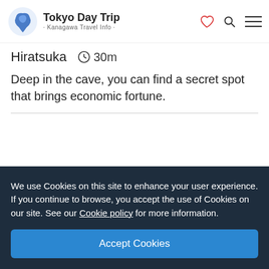Tokyo Day Trip · Kanagawa Travel Info ·
Hiratsuka  30m
Deep in the cave, you can find a secret spot that brings economic fortune.
[Figure (other): Card number 3 with blue background and heart icon]
We use Cookies on this site to enhance your user experience. If you continue to browse, you accept the use of Cookies on our site. See our Cookie policy for more information.
Accept Cookies